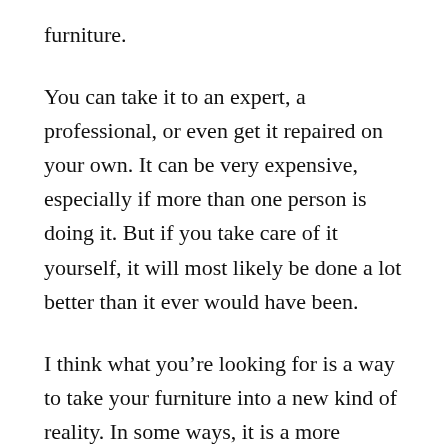furniture.
You can take it to an expert, a professional, or even get it repaired on your own. It can be very expensive, especially if more than one person is doing it. But if you take care of it yourself, it will most likely be done a lot better than it ever would have been.
I think what you’re looking for is a way to take your furniture into a new kind of reality. In some ways, it is a more accurate way to look at a furniture. It allows the consumer to see what you’re trying to replicate. It’s really a great solution if you think about it.